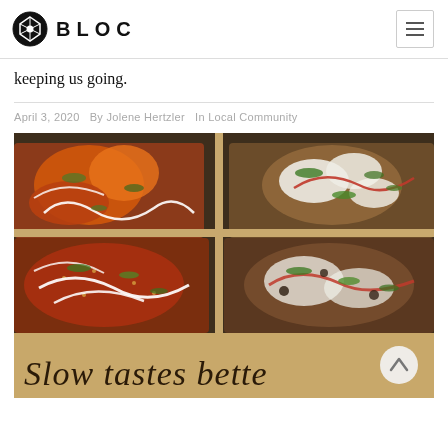BLOC
keeping us going.
April 3, 2020   By Jolene Hertzler   In Local Community
[Figure (photo): Four pieces of flatbread/pizza loaded with colorful toppings including vegetables, cheese, and herbs, arranged in a cardboard box. The bottom of the box reads 'Slow tastes bette' (partially visible). A round back-to-top button with an upward caret is visible in the lower right corner of the image.]